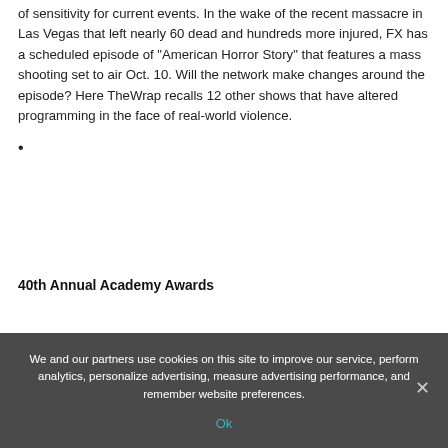of sensitivity for current events. In the wake of the recent massacre in Las Vegas that left nearly 60 dead and hundreds more injured, FX has a scheduled episode of "American Horror Story" that features a mass shooting set to air Oct. 10. Will the network make changes around the episode? Here TheWrap recalls 12 other shows that have altered programming in the face of real-world violence.
40th Annual Academy Awards
We and our partners use cookies on this site to improve our service, perform analytics, personalize advertising, measure advertising performance, and remember website preferences.
Ok